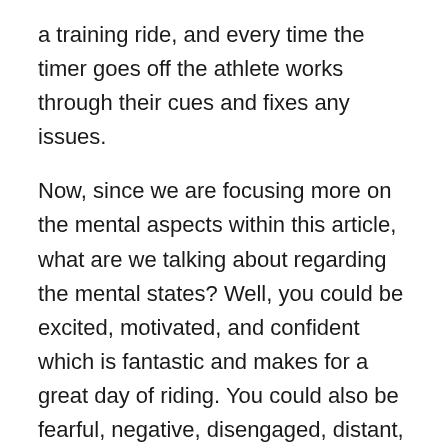a training ride, and every time the timer goes off the athlete works through their cues and fixes any issues.
Now, since we are focusing more on the mental aspects within this article, what are we talking about regarding the mental states? Well, you could be excited, motivated, and confident which is fantastic and makes for a great day of riding. You could also be fearful, negative, disengaged, distant, and all around poopy. We all know having this kind of ineffective and negative mindset